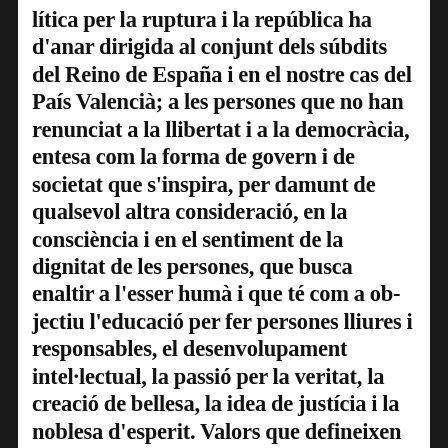lítica per la ruptura i la república ha d'anar dirigida al conjunt dels súbdits del Reino de España i en el nostre cas del País Valencià; a les persones que no han renunciat a la llibertat i a la democràcia, entesa com la forma de govern i de societat que s'inspira, per damunt de qualsevol altra consideració, en la consciència i en el sentiment de la dignitat de les persones, que busca enaltir a l'esser humà i que té com a objectiu l'educació per fer persones lliures i responsables, el desenvolupament intel·lectual, la passió per la veritat, la creació de bellesa, la idea de justícia i la noblesa d'esperit. Valors que defineixen l'humanisme republicà i que ha de ser l'arma més important per impedir que la societat degenere –com ja ho està fent– a causa de la demagògia, l'estupidesa, la propaganda, la vulgaritat i el foment dels instints humans